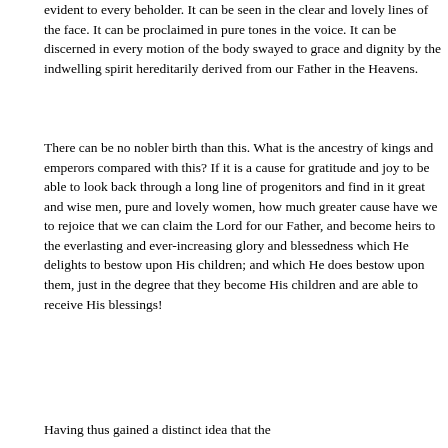evident to every beholder. It can be seen in the clear and lovely lines of the face. It can be proclaimed in pure tones in the voice. It can be discerned in every motion of the body swayed to grace and dignity by the indwelling spirit hereditarily derived from our Father in the Heavens.
There can be no nobler birth than this. What is the ancestry of kings and emperors compared with this? If it is a cause for gratitude and joy to be able to look back through a long line of progenitors and find in it great and wise men, pure and lovely women, how much greater cause have we to rejoice that we can claim the Lord for our Father, and become heirs to the everlasting and ever-increasing glory and blessedness which He delights to bestow upon His children; and which He does bestow upon them, just in the degree that they become His children and are able to receive His blessings!
Having thus gained a distinct idea that the